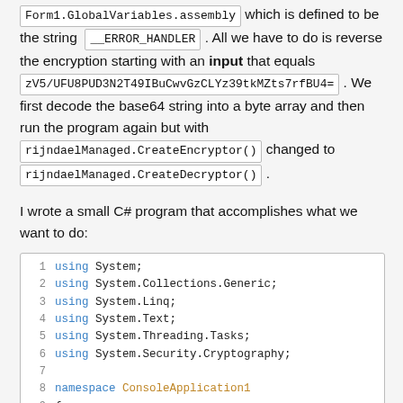Form1.GlobalVariables.assembly which is defined to be the string __ERROR_HANDLER . All we have to do is reverse the encryption starting with an input that equals zV5/UFU8PUD3N2T49IBuCwvGzCLYz39tkMZts7rfBU4= . We first decode the base64 string into a byte array and then run the program again but with rijndaelManaged.CreateEncryptor() changed to rijndaelManaged.CreateDecryptor() .
I wrote a small C# program that accomplishes what we want to do:
[Figure (screenshot): Code block showing C# using statements: using System; using System.Collections.Generic; using System.Linq; using System.Text; using System.Threading.Tasks; using System.Security.Cryptography; namespace ConsoleApplication1 { class Program (partial)]